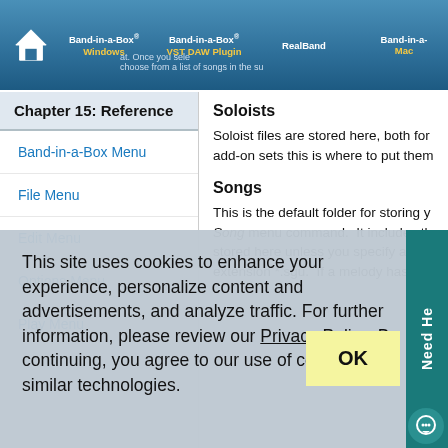Band-in-a-Box® Windows | Band-in-a-Box® VST DAW Plugin | RealBand | Band-in-a-Mac
Chapter 15: Reference
Band-in-a-Box Menu
File Menu
Edit Menu
Options Menu
Play Menu
Soloists
Soloist files are stored here, both for add-on sets this is where to put them
Songs
This is the default folder for storing y Song menu command.  It includes th stored here unless you specify a cus extension *.sgu.  If a melody has bo
This site uses cookies to enhance your experience, personalize content and advertisements, and analyze traffic. For further information, please review our Privacy Policy. By continuing, you agree to our use of cookies and similar technologies.